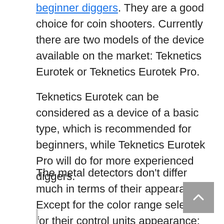beginner diggers. They are a good choice for coin shooters. Currently there are two models of the device available on the market: Teknetics Eurotek or Teknetics Eurotek Pro.
Teknetics Eurotek can be considered as a device of a basic type, which is recommended for beginners, while Teknetics Eurotek Pro will do for more experienced diggers.
The metal detectors don't differ much in terms of their appearance. Except for the color range selected for their control units appearance: Eurotek control unit is colored in green, while Eurotek Pro – is red.